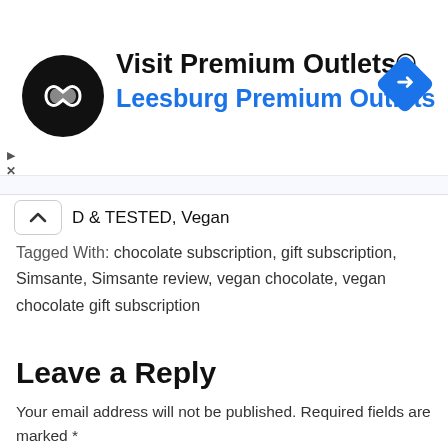[Figure (screenshot): Advertisement banner for Visit Premium Outlets® - Leesburg Premium Outlets with circular logo and navigation diamond icon]
D & TESTED, Vegan
Tagged With: chocolate subscription, gift subscription, Simsante, Simsante review, vegan chocolate, vegan chocolate gift subscription
Leave a Reply
Your email address will not be published. Required fields are marked *